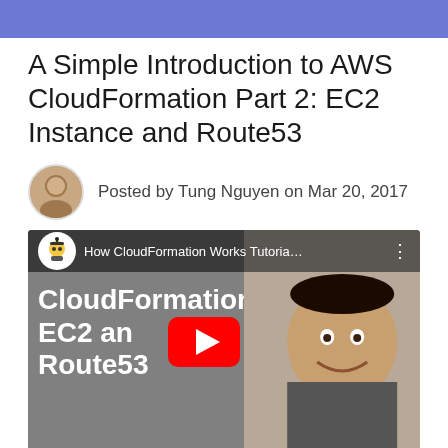A Simple Introduction to AWS CloudFormation Part 2: EC2 Instance and Route53
Posted by Tung Nguyen on Mar 20, 2017
[Figure (screenshot): YouTube video thumbnail showing 'How CloudFormation Works Tutoria...' with text overlay 'CloudFormation EC2 and Route53' and a YouTube play button, alongside a smiling man on the right side of the frame.]